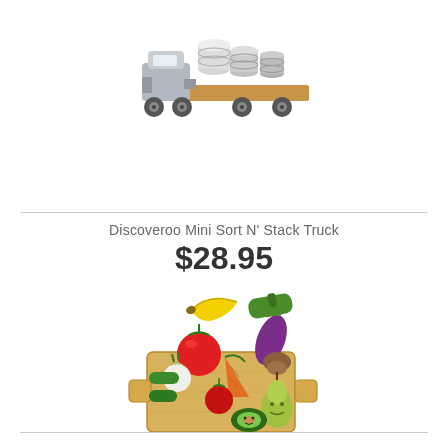[Figure (photo): Wooden toy truck (Discoveroo Mini Sort N' Stack Truck) with gray cab and cylindrical stacking pieces on a flatbed trailer]
Discoveroo Mini Sort N' Stack Truck
$28.95
[Figure (photo): Wooden toy vegetables and fruits set on a wooden cutting board tray, including tomatoes, carrot, eggplant, banana, pear, avocado, mushroom, and green vegetables]